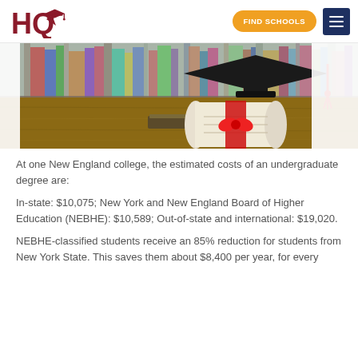HQ — FIND SCHOOLS
[Figure (photo): Graduation cap and rolled diploma tied with red ribbon on wooden surface, with blurred bookshelf in background]
At one New England college, the estimated costs of an undergraduate degree are:
In-state: $10,075; New York and New England Board of Higher Education (NEBHE): $10,589; Out-of-state and international: $19,020.
NEBHE-classified students receive an 85% reduction for students from New York State. This saves them about $8,400 per year, for every